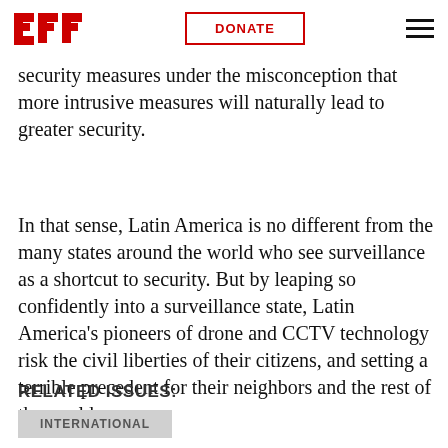EFF | DONATE
by partners like the United States. In addition, many countries civilian surveillance required more security measures under the misconception that more intrusive measures will naturally lead to greater security.
In that sense, Latin America is no different from the many states around the world who see surveillance as a shortcut to security. But by leaping so confidently into a surveillance state, Latin America's pioneers of drone and CCTV technology risk the civil liberties of their citizens, and setting a terrible precedent for their neighbors and the rest of the world.
RELATED ISSUES:
INTERNATIONAL